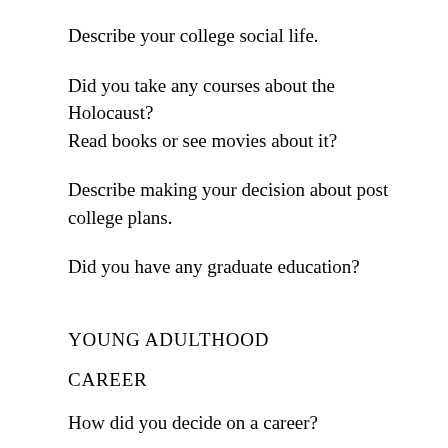Describe your college social life.
Did you take any courses about the Holocaust? Read books or see movies about it?
Describe making your decision about post college plans.
Did you have any graduate education?
YOUNG ADULTHOOD
CAREER
How did you decide on a career?
Did you involve your parents in these